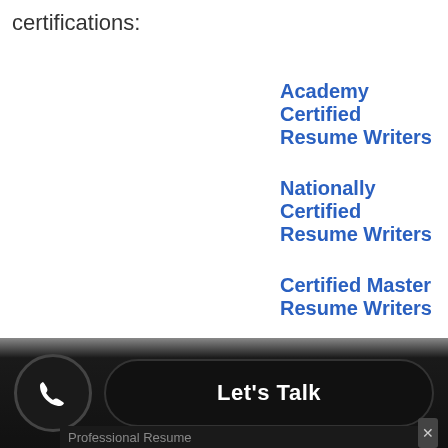certifications:
Academy Certified Resume Writers
Nationally Certified Resume Writers
Certified Master Resume Writers
Master Resume Writers
Let's Talk
Professional Resume